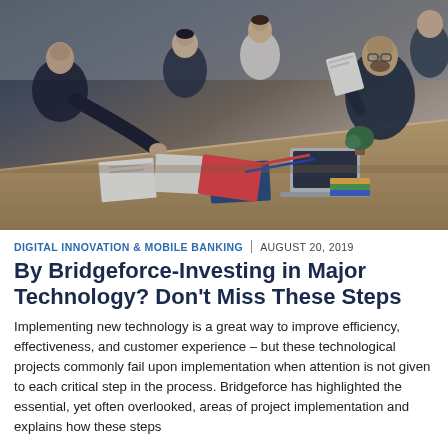[Figure (photo): Business professionals gathered around a wooden conference table, reviewing documents and discussing. Papers, notebooks, laptops, and office supplies visible on the table. Overhead view slightly angled.]
DIGITAL INNOVATION & MOBILE BANKING | AUGUST 20, 2019
By Bridgeforce-Investing in Major Technology? Don't Miss These Steps
Implementing new technology is a great way to improve efficiency, effectiveness, and customer experience – but these technological projects commonly fail upon implementation when attention is not given to each critical step in the process. Bridgeforce has highlighted the essential, yet often overlooked, areas of project implementation and explains how these steps